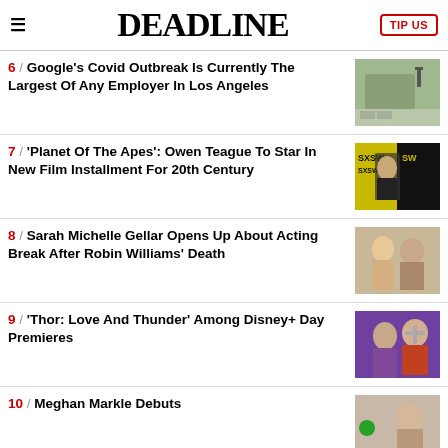DEADLINE
6 / Google's Covid Outbreak Is Currently The Largest Of Any Employer In Los Angeles
7 / 'Planet Of The Apes': Owen Teague To Star In New Film Installment For 20th Century
8 / Sarah Michelle Gellar Opens Up About Acting Break After Robin Williams' Death
9 / 'Thor: Love And Thunder' Among Disney+ Day Premieres
10 / Meghan Markle Debuts